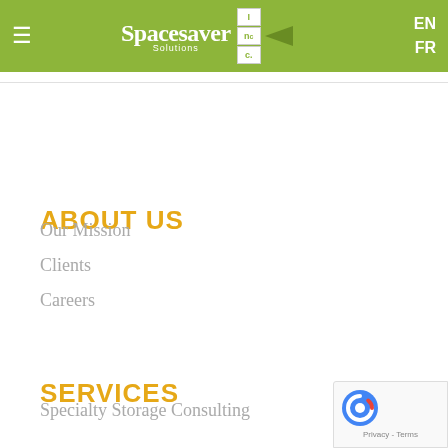≡  Spacesaver Solutions Inc.  EN FR
ABOUT US
Our Mission
Clients
Careers
SERVICES
Specialty Storage Consulting
[Figure (logo): reCAPTCHA badge with Google logo and Privacy - Terms text]